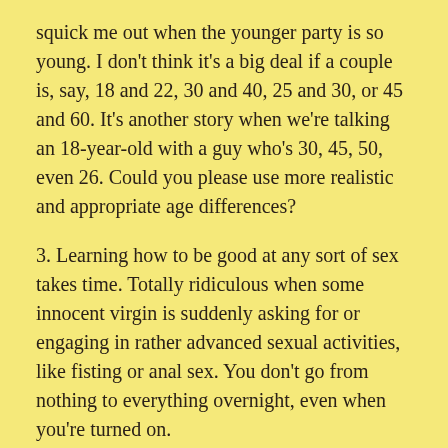squick me out when the younger party is so young. I don't think it's a big deal if a couple is, say, 18 and 22, 30 and 40, 25 and 30, or 45 and 60. It's another story when we're talking an 18-year-old with a guy who's 30, 45, 50, even 26. Could you please use more realistic and appropriate age differences?
3. Learning how to be good at any sort of sex takes time. Totally ridiculous when some innocent virgin is suddenly asking for or engaging in rather advanced sexual activities, like fisting or anal sex. You don't go from nothing to everything overnight, even when you're turned on.